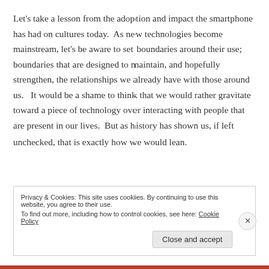Let's take a lesson from the adoption and impact the smartphone has had on cultures today.  As new technologies become mainstream, let's be aware to set boundaries around their use; boundaries that are designed to maintain, and hopefully strengthen, the relationships we already have with those around us.   It would be a shame to think that we would rather gravitate toward a piece of technology over interacting with people that are present in our lives.  But as history has shown us, if left unchecked, that is exactly how we would lean.
Privacy & Cookies: This site uses cookies. By continuing to use this website, you agree to their use.
To find out more, including how to control cookies, see here: Cookie Policy
Close and accept